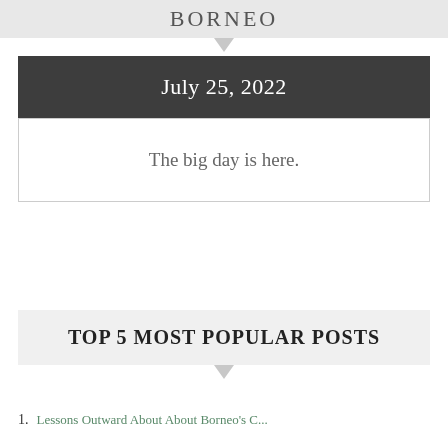BORNEO
July 25, 2022
The big day is here.
TOP 5 MOST POPULAR POSTS
1. [link text partially visible]